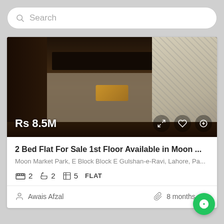Search
[Figure (photo): Interior photo of a living room with dark hardwood floors, a dark coffee table, a golden/brown cushion on the floor, a large rug, and a patterned sofa on the right. Price overlay shows Rs 8.5M with expand, favorite, and add icons.]
2 Bed Flat For Sale 1st Floor Available in Moon ...
Moon Market Park, E Block Block E Gulshan-e-Ravi, Lahore, Pa...
2  2  5  FLAT
Awais Afzal
8 months ago